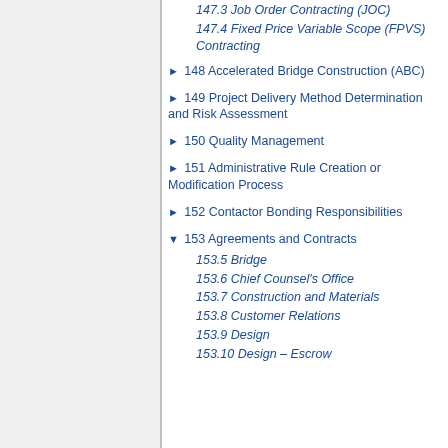147.3 Job Order Contracting (JOC)
147.4 Fixed Price Variable Scope (FPVS) Contracting
► 148 Accelerated Bridge Construction (ABC)
► 149 Project Delivery Method Determination and Risk Assessment
► 150 Quality Management
► 151 Administrative Rule Creation or Modification Process
► 152 Contactor Bonding Responsibilities
▼ 153 Agreements and Contracts
153.5 Bridge
153.6 Chief Counsel's Office
153.7 Construction and Materials
153.8 Customer Relations
153.9 Design
153.10 Design – Escrow